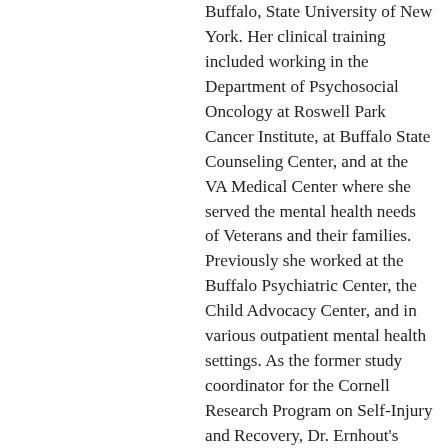Buffalo, State University of New York. Her clinical training included working in the Department of Psychosocial Oncology at Roswell Park Cancer Institute, at Buffalo State Counseling Center, and at the VA Medical Center where she served the mental health needs of Veterans and their families. Previously she worked at the Buffalo Psychiatric Center, the Child Advocacy Center, and in various outpatient mental health settings. As the former study coordinator for the Cornell Research Program on Self-Injury and Recovery, Dr. Ernhout's research has focused on evidence-based therapy in the treatment of mental health disorders; risk and resilience across the lifespan; the role of parents and family members in recovery; and the integration of Eastern philosophic practices (e.g., meditation, mindfulness, yoga, embodied self-awareness) into